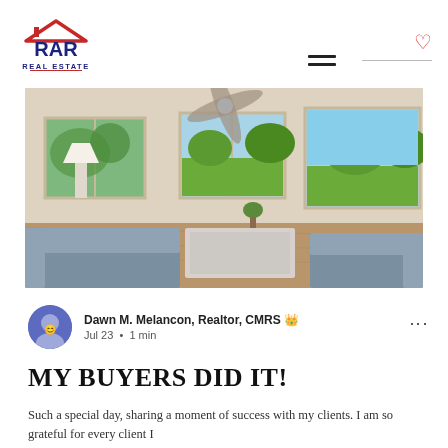[Figure (logo): RAR Real Estate logo with red house roof icon above bold dark blue text RAR and REAL ESTATE below]
[Figure (photo): Interior living room photo showing a bright room with ceiling fan, large windows with garden views, grey sofa, and a white coffee table]
Dawn M. Melancon, Realtor, CMRS 👑
Jul 23  •  1 min
MY BUYERS DID IT!
Such a special day, sharing a moment of success with my clients. I am so grateful for every client I